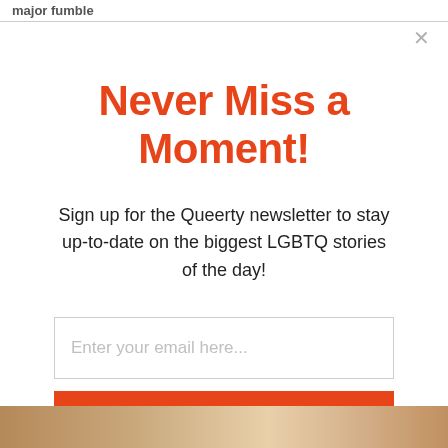major fumble
Never Miss a Moment!
Sign up for the Queerty newsletter to stay up-to-date on the biggest LGBTQ stories of the day!
Enter your email here...
Sign Up
[Figure (photo): Bottom strip showing a row of people photos]